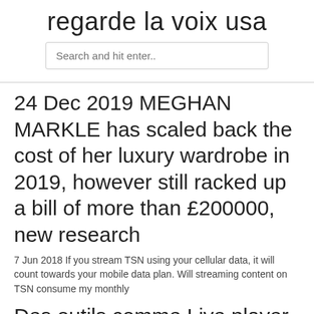regarde la voix usa
Search and hit enter..
24 Dec 2019 MEGHAN MARKLE has scaled back the cost of her luxury wardrobe in 2019, however still racked up a bill of more than £200000, new research
7 Jun 2018 If you stream TSN using your cellular data, it will count towards your mobile data plan. Will streaming content on TSN consume my monthly
Des outils comme Live player permettent de voir des matches en direct. Ce logiciel fonctionne sur la base de système P2p (Peer to Peer). Ce qui signifie que plus il y a